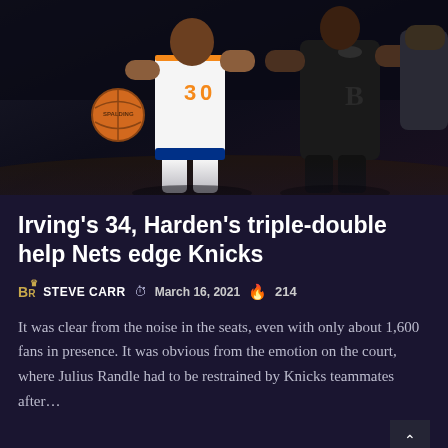[Figure (photo): Basketball players in action — a Knicks player wearing #30 in white and orange uniform dribbling against a Brooklyn Nets player in black uniform, on a dark court background]
Irving’s 34, Harden’s triple-double help Nets edge Knicks
BR STEVE CARR ⏱ March 16, 2021 🔥 214
It was clear from the noise in the seats, even with only about 1,600 fans in presence. It was obvious from the emotion on the court, where Julius Randle had to be restrained by Knicks teammates after…